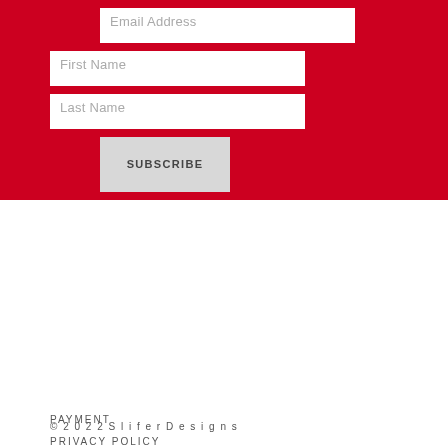Email Address
First Name
Last Name
SUBSCRIBE
PAYMENT
PRIVACY POLICY
RETURNS & SHIPPING
PORTFOLIO
CONTACT
EMPLOYMENT
© 2022 Slifer Designs